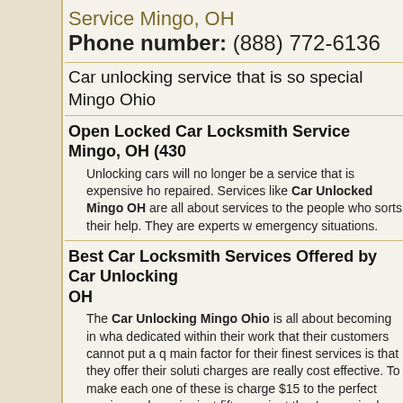Service Mingo, OH
Phone number: (888) 772-6136
Car unlocking service that is so special Mingo Ohio
Open Locked Car Locksmith Service Mingo, OH (430
Unlocking cars will no longer be a service that is expensive ho repaired. Services like Car Unlocked Mingo OH are all about services to the people who sorts their help. They are experts w emergency situations.
Best Car Locksmith Services Offered by Car Unlocking Mingo OH
The Car Unlocking Mingo Ohio is all about becoming in what dedicated within their work that their customers cannot put a q main factor for their finest services is that they offer their soluti charges are really cost effective. To make each one of these is charge $15 to the perfect service and require just fifteen minut they're required. The customer just has to contact them in their will send the expert.
Something Extra Mingo, Ohio